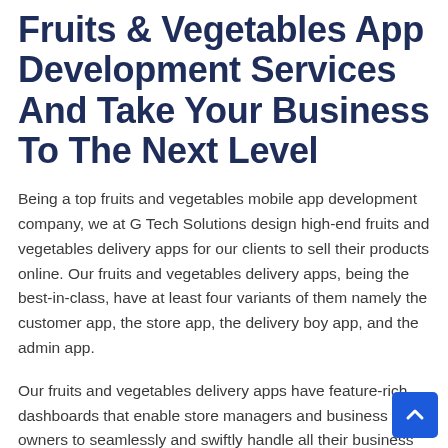Fruits & Vegetables App Development Services And Take Your Business To The Next Level
Being a top fruits and vegetables mobile app development company, we at G Tech Solutions design high-end fruits and vegetables delivery apps for our clients to sell their products online. Our fruits and vegetables delivery apps, being the best-in-class, have at least four variants of them namely the customer app, the store app, the delivery boy app, and the admin app.
Our fruits and vegetables delivery apps have feature-rich dashboards that enable store managers and business owners to seamlessly and swiftly handle all their business operations. They can